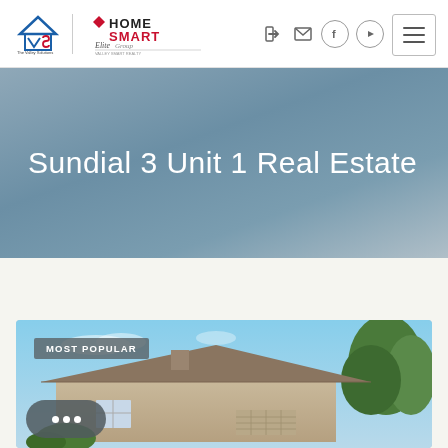[Figure (logo): The Valley Solutions Team and HomeSmart Elite Group logo]
Sundial 3 Unit 1 Real Estate
[Figure (photo): Aerial/front view of a tan stucco residential home with tile roof under blue sky, with green trees on the right side]
MOST POPULAR